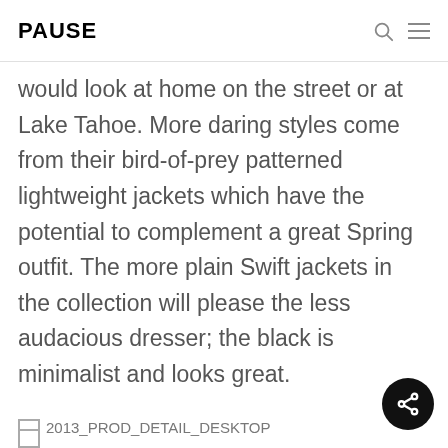PAUSE
would look at home on the street or at Lake Tahoe. More daring styles come from their bird-of-prey patterned lightweight jackets which have the potential to complement a great Spring outfit. The more plain Swift jackets in the collection will please the less audacious dresser; the black is minimalist and looks great.
[Figure (photo): Image placeholder labeled 2013_PROD_DETAIL_DESKTOP with broken image icon]